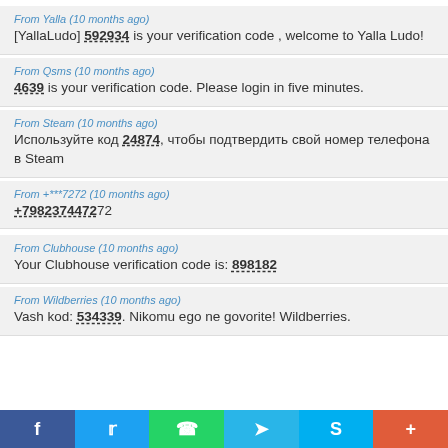From Yalla (10 months ago)
[YallaLudo] 592934 is your verification code , welcome to Yalla Ludo!
From Qsms (10 months ago)
4639 is your verification code. Please login in five minutes.
From Steam (10 months ago)
Используйте код 24874, чтобы подтвердить свой номер телефона в Steam
From +***7272 (10 months ago)
+7982374472
From Clubhouse (10 months ago)
Your Clubhouse verification code is: 898182
From Wildberries (10 months ago)
Vash kod: 534339. Nikomu ego ne govorite! Wildberries.